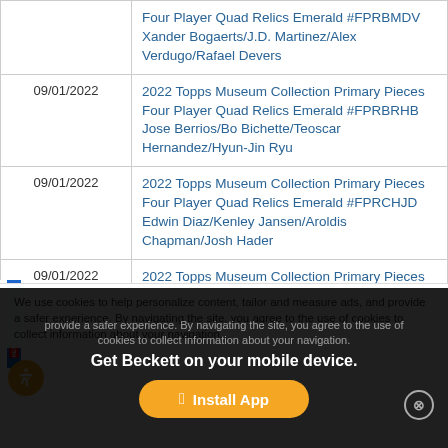| Date | Description |
| --- | --- |
|  | 2022 Topps Museum Collection Primary Pieces Four Player Quad Relics Emerald #FPRBMDV
Xander Bogaerts/J.D. Martinez/Alex Verdugo/Rafael Devers |
| 09/01/2022 | 2022 Topps Museum Collection Primary Pieces Four Player Quad Relics Emerald #FPRBRHB
Jose Berrios/Bo Bichette/Teoscar Hernandez/Hyun-Jin Ryu |
| 09/01/2022 | 2022 Topps Museum Collection Primary Pieces Four Player Quad Relics Emerald #FPRCHJD
Edwin Diaz/Kenley Jansen/Aroldis Chapman/Josh Hader |
| 09/01/2022 | 2022 Topps Museum Collection Primary Pieces Four Player Quad Relics Emerald #FPRCKCB |
We use cookies to help personalize content, tailor and measure ads, and provide a safer experience. By navigating the site, you agree to the use of cookies to collect information about your navigation.
Get Beckett on your mobile device.
Install App